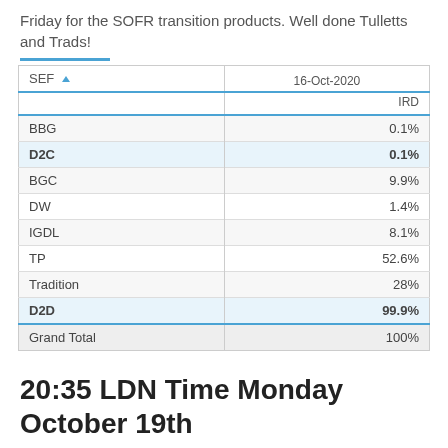Friday for the SOFR transition products. Well done Tulletts and Trads!
| SEF | 16-Oct-2020 | IRD |
| --- | --- | --- |
| BBG | 0.1% |
| D2C | 0.1% |
| BGC | 9.9% |
| DW | 1.4% |
| IGDL | 8.1% |
| TP | 52.6% |
| Tradition | 28% |
| D2D | 99.9% |
| Grand Total | 100% |
20:35 LDN Time Monday October 19th